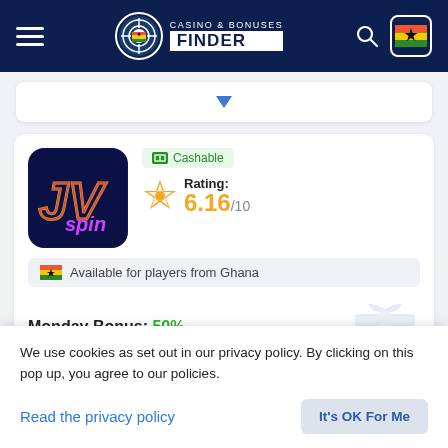CASINO & BONUSES FINDER
Cashable
Rating: 6.16/10
Available for players from Ghana
Monday Bonus: 50% up to € 300
We use cookies as set out in our privacy policy. By clicking on this pop up, you agree to our policies.
Read the privacy policy
It's OK For Me